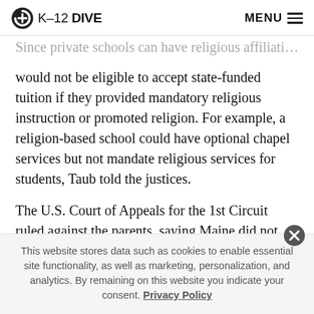K-12 DIVE  MENU
Since private schools can have religious affiliations but would not be eligible to accept state-funded tuition if they provided mandatory religious instruction or promoted religion. For example, a religion-based school could have optional chapel services but not mandate religious services for students, Taub told the justices.
The U.S. Court of Appeals for the 1st Circuit ruled against the parents, saying Maine did not violate the First Amendment's Free Exercise Clause or Establishment
This website stores data such as cookies to enable essential site functionality, as well as marketing, personalization, and analytics. By remaining on this website you indicate your consent. Privacy Policy